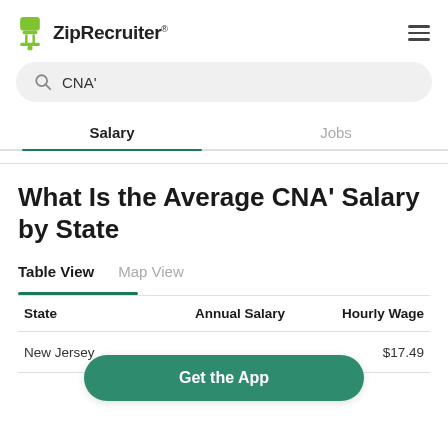ZipRecruiter
CNA'
Salary  Jobs
What Is the Average CNA' Salary by State
Table View  Map View
| State | Annual Salary | Hourly Wage |
| --- | --- | --- |
| New Jersey |  | $17.49 |
Get the App